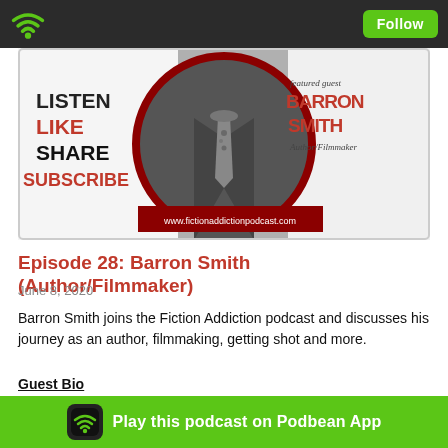Follow
[Figure (illustration): Podcast cover art for Fiction Addiction podcast featuring Barron Smith (Author/Filmmaker). Shows a suited figure with a patterned tie, text: LISTEN LIKE SHARE SUBSCRIBE and BARRON SMITH Author/Filmmaker, featured guest, www.fictionaddictionpodcast.com]
Episode 28: Barron Smith (Author/Filmmaker)
June 8, 2020
Barron Smith joins the Fiction Addiction podcast and discusses his journey as an author, filmmaking, getting shot and more.
Guest Bio
An Author, Poet, Screenwriter, Director and Filmmaker from St. Louis, Mo. While serving five years in the Navy, Barron started writing about his time aboard ship. "Sometimes I used to write just to ease th... ly entries became poets masterpiece... Barron is the author... 4 books (2...
Play this podcast on Podbean App